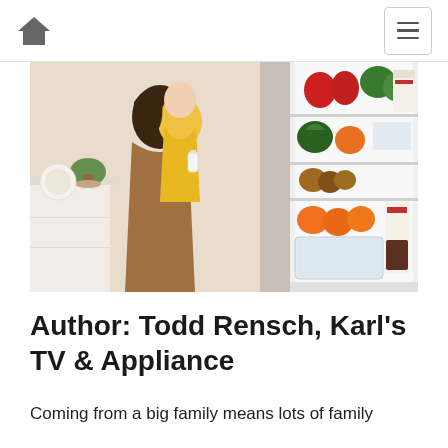Home navigation and menu
[Figure (photo): A mother holding a child in a yellow sweater, standing in front of an open refrigerator stocked with fruits and vegetables. A kitchen background is visible on the left.]
Author: Todd Rensch, Karl's TV & Appliance
Coming from a big family means lots of family gathering, attending birthdays, vacations, and lots to